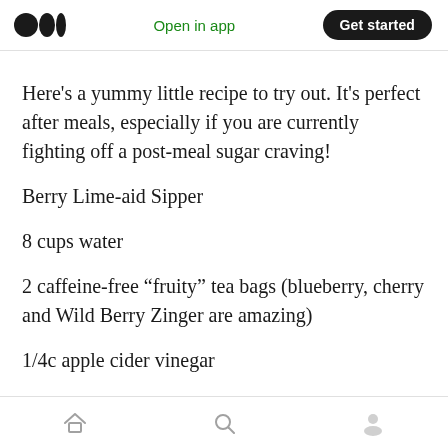Open in app | Get started
Here’s a yummy little recipe to try out. It’s perfect after meals, especially if you are currently fighting off a post-meal sugar craving!
Berry Lime-aid Sipper
8 cups water
2 caffeine-free “fruity” tea bags (blueberry, cherry and Wild Berry Zinger are amazing)
1/4c apple cider vinegar
1/4c fresh lime or lemon juice (I like lime)
Home | Search | Profile